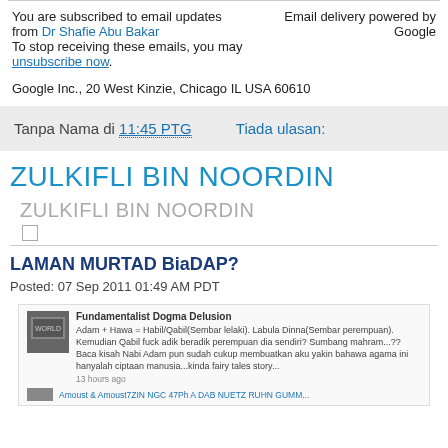You are subscribed to email updates from Dr Shafie Abu Bakar   Email delivery powered by Google
To stop receiving these emails, you may unsubscribe now.
Google Inc., 20 West Kinzie, Chicago IL USA 60610
Tanpa Nama di 11:45 PTG    Tiada ulasan:
ZULKIFLI BIN NOORDIN
ZULKIFLI BIN NOORDIN
LAMAN MURTAD BiaDAP?
Posted: 07 Sep 2011 01:49 AM PDT
[Figure (screenshot): Screenshot of a Facebook or social media post from 'Fundamentalist Dogma Delusion' discussing Adam, Hawa, Qabil/Qain, religious topics in Malay language, with profile images and timestamps.]